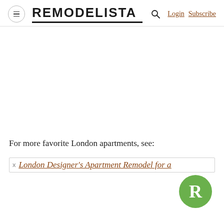REMODELISTA  Login  Subscribe
For more favorite London apartments, see:
London Designer's Apartment Remodel for a